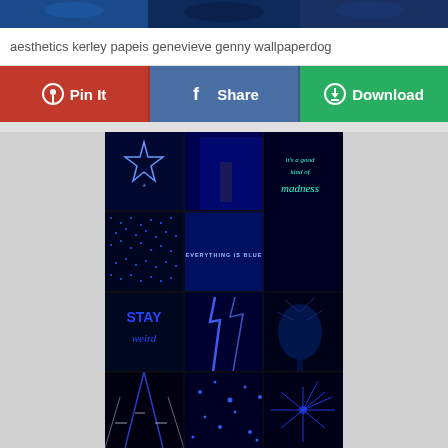[Figure (photo): Blue aesthetic collage image strip at top]
aesthetics kerley papeis genevieve genny wallpaperdog
Pin It
Share
Download
[Figure (photo): Blue aesthetic collage with multiple panels: star light, figure in hallway, neon text 'it's a good kind of madness', string lights, 'EVERYTHING IS BLUE' text, abstract blue, 'STAY weird' neon, blue lightning, blue tree, night road, blue sparkles, blue fireworks]